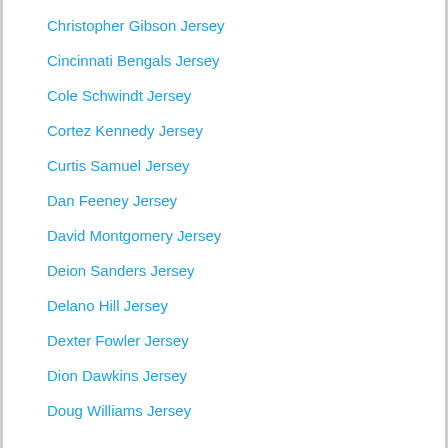Christopher Gibson Jersey
Cincinnati Bengals Jersey
Cole Schwindt Jersey
Cortez Kennedy Jersey
Curtis Samuel Jersey
Dan Feeney Jersey
David Montgomery Jersey
Deion Sanders Jersey
Delano Hill Jersey
Dexter Fowler Jersey
Dion Dawkins Jersey
Doug Williams Jersey